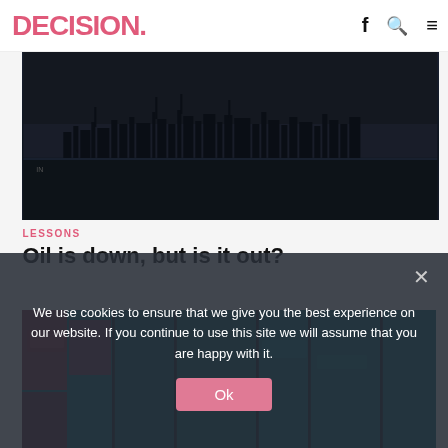DECISION.
[Figure (photo): Black and white aerial photo of an industrial city skyline with oil refinery or industrial complex visible across a body of water, dark moody sky]
LESSONS
Oil is down, but is it out?
[Figure (photo): Colorful city street scene with bright neon lights in red, teal, and green, showing urban storefronts and buildings at night]
We use cookies to ensure that we give you the best experience on our website. If you continue to use this site we will assume that you are happy with it.